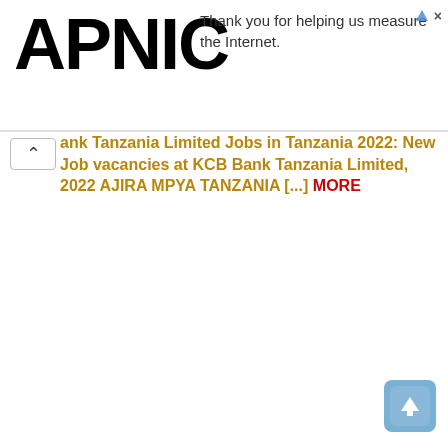[Figure (logo): APNIC logo in bold black text]
Thank you for helping us measure the Internet.
ank Tanzania Limited Jobs in Tanzania 2022: New Job vacancies at KCB Bank Tanzania Limited, 2022 AJIRA MPYA TANZANIA [...] MORE
[Figure (other): Scroll to top button with upward arrow, blue rounded square icon]